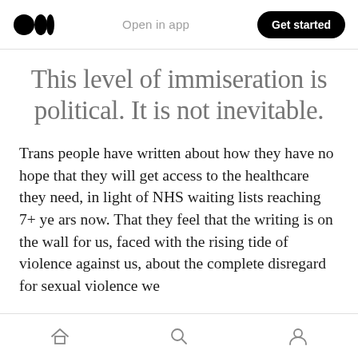Open in app | Get started
This level of immiseration is political. It is not inevitable.
Trans people have written about how they have no hope that they will get access to the healthcare they need, in light of NHS waiting lists reaching 7+ years now. That they feel that the writing is on the wall for us, faced with the rising tide of violence against us, about the complete disregard for sexual violence we
Home | Search | Profile